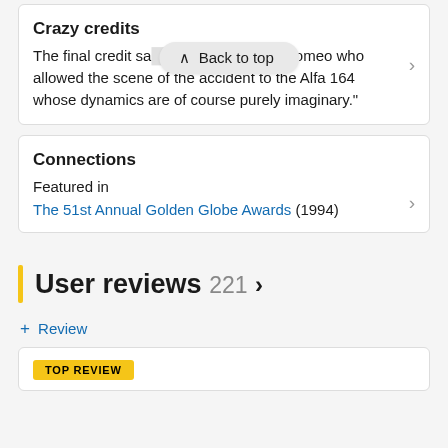Crazy credits
The final credit sa... we thank Alfa Romeo who allowed the scene of the accident to the Alfa 164 whose dynamics are of course purely imaginary."
Connections
Featured in
The 51st Annual Golden Globe Awards (1994)
User reviews 221 >
+ Review
TOP REVIEW